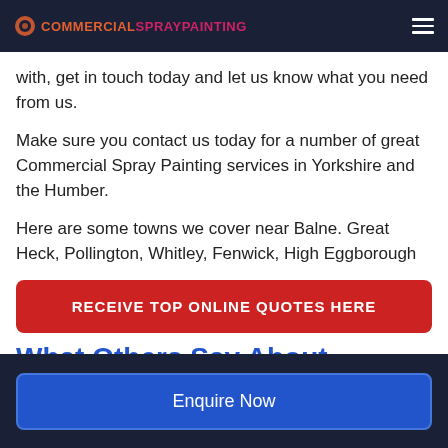COMMERCIALSPRAYPAINTING
with, get in touch today and let us know what you need from us.
Make sure you contact us today for a number of great Commercial Spray Painting services in Yorkshire and the Humber.
Here are some towns we cover near Balne. Great Heck, Pollington, Whitley, Fenwick, High Eggborough
RECEIVE TOP ONLINE QUOTES HERE
What Others Say About
Enquire Now